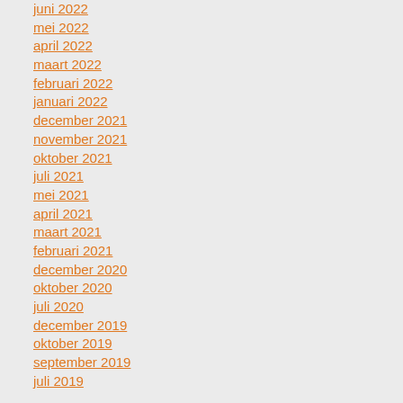juni 2022
mei 2022
april 2022
maart 2022
februari 2022
januari 2022
december 2021
november 2021
oktober 2021
juli 2021
mei 2021
april 2021
maart 2021
februari 2021
december 2020
oktober 2020
juli 2020
december 2019
oktober 2019
september 2019
juli 2019